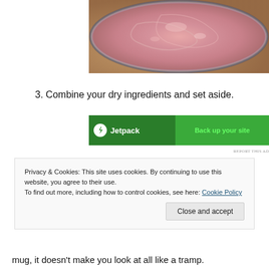[Figure (photo): Close-up photo of a bowl with pink/light rose-colored batter or mixture, viewed from above, with a wooden surface visible at the edge.]
3. Combine your dry ingredients and set aside.
[Figure (screenshot): Jetpack advertisement banner with green background. Left side shows Jetpack logo (lightning bolt icon) and name. Right side shows 'Back up your site' call-to-action in lighter green. 'REPORT THIS AD' text below.]
Privacy & Cookies: This site uses cookies. By continuing to use this website, you agree to their use.
To find out more, including how to control cookies, see here: Cookie Policy
mug, it doesn't make you look at all like a tramp.